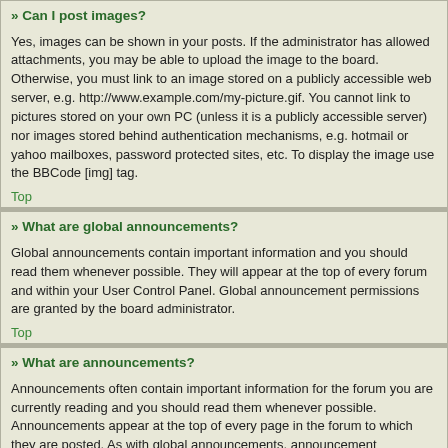» Can I post images?
Yes, images can be shown in your posts. If the administrator has allowed attachments, you may be able to upload the image to the board. Otherwise, you must link to an image stored on a publicly accessible web server, e.g. http://www.example.com/my-picture.gif. You cannot link to pictures stored on your own PC (unless it is a publicly accessible server) nor images stored behind authentication mechanisms, e.g. hotmail or yahoo mailboxes, password protected sites, etc. To display the image use the BBCode [img] tag.
Top
» What are global announcements?
Global announcements contain important information and you should read them whenever possible. They will appear at the top of every forum and within your User Control Panel. Global announcement permissions are granted by the board administrator.
Top
» What are announcements?
Announcements often contain important information for the forum you are currently reading and you should read them whenever possible. Announcements appear at the top of every page in the forum to which they are posted. As with global announcements, announcement permissions are granted by the board administrator.
Top